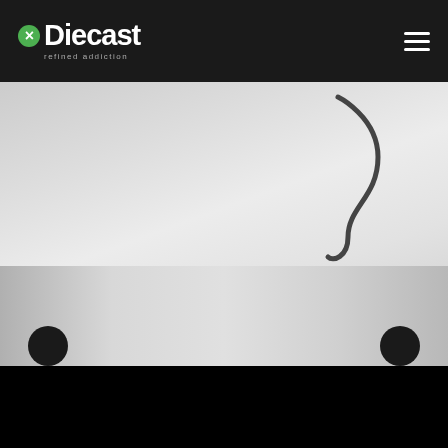Diecast refined addiction
[Figure (photo): Close-up photo of a wire/spring component on a light grey background, showing a curved dark wire shape against a pale surface.]
Jumping away from the review quickly to add a few lines of note about the experience that I have photographing this model. As the problem with every bike (specially the superbikes like the ZX10R) which don't come with centre stand, taking pics of the stance and the straight up front and rear becames tough. The solution is a DIY racing/kick stand!!
[Figure (photo): Bottom portion of photo showing two dark round knob/wheel shapes on a light grey background.]